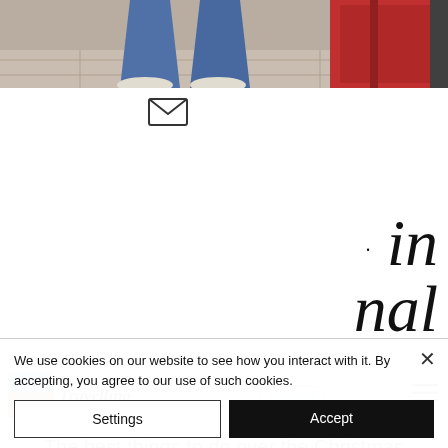[Figure (photo): Top banner photo showing legs in jeans and a red suitcase]
[Figure (illustration): Email/envelope icon]
· in nal
[Figure (logo): The Travelling Duo logo with tagline 'Travelling the world, one step at a time' and Get In Touch button and hamburger menu]
The best things to do over the Christmas season in the UK's capital city
We use cookies on our website to see how you interact with it. By accepting, you agree to our use of such cookies.
Settings
Accept